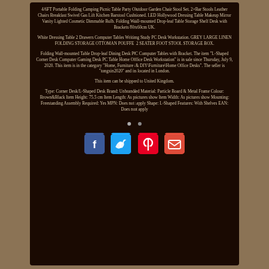4/6FT Portable Folding Camping Picnic Table Party Outdoor Garden Chair Stool Set. 2×Bar Stools Leather Chairs Breakfast Swivel Gas Lift Kitchen Barstool Cushioned. LED Hollywood Dressing Table Makeup Mirror Vanity Lighted Cosmetic Dimmable Bulb. Folding Wall-mounted Drop-leaf Table Storage Shelf Desk with Brackets 80x60cm UK.
White Dressing Table 2 Drawers Computer Tables Writing Study PC Desk Workstation. GREY LARGE LINEN FOLDING STORAGE OTTOMAN POUFFE 2 SEATER FOOT STOOL STORAGE BOX.
Folding Wall-mounted Table Drop-leaf Dining Desk PC Computer Tables with Bracket. The item "L-Shaped Corner Desk Computer Gaming Desk PC Table Home Office Desk Workstation" is in sale since Thursday, July 9, 2020. This item is in the category "Home, Furniture & DIY\Furniture\Home Office Desks". The seller is "tongxin2020" and is located in London.
This item can be shipped to United Kingdom.
Type: Corner Desk/L-Shaped Desk Brand: Unbranded Material: Particle Board & Metal Frame Colour: Brown&Black Item Height: 75.5 cm Item Length: As pictures show Item Width: As pictures show Mounting: Freestanding Assembly Required: Yes MPN: Does not apply Shape: L-Shaped Features: With Shelves EAN: Does not apply